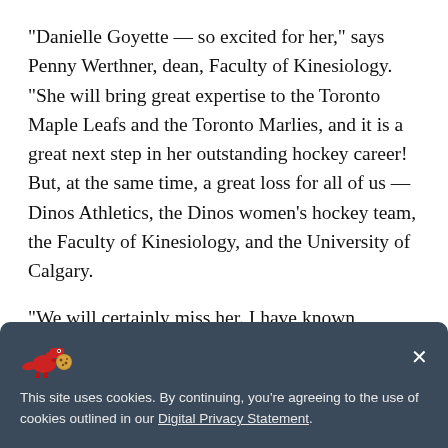"Danielle Goyette — so excited for her," says Penny Werthner, dean, Faculty of Kinesiology. "She will bring great expertise to the Toronto Maple Leafs and the Toronto Marlies, and it is a great next step in her outstanding hockey career! But, at the same time, a great loss for all of us — Dinos Athletics, the Dinos women's hockey team, the Faculty of Kinesiology, and the University of Calgary.
"We will certainly miss her. I have known Danielle for many years, since the 1998 Olympic Games in Nagano, Japan, when the women's game was first able to play at that level
This site uses cookies. By continuing, you're agreeing to the use of cookies outlined in our Digital Privacy Statement.